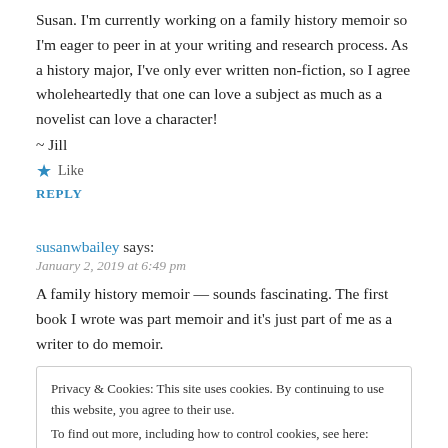Susan. I'm currently working on a family history memoir so I'm eager to peer in at your writing and research process. As a history major, I've only ever written non-fiction, so I agree wholeheartedly that one can love a subject as much as a novelist can love a character!
~ Jill
★ Like
REPLY
susanwbailey says:
January 2, 2019 at 6:49 pm
A family history memoir — sounds fascinating. The first book I wrote was part memoir and it's just part of me as a writer to do memoir.
Privacy & Cookies: This site uses cookies. By continuing to use this website, you agree to their use.
To find out more, including how to control cookies, see here: Cookie Policy
Close and accept
online so others can read them too. One thing I have certainly learned